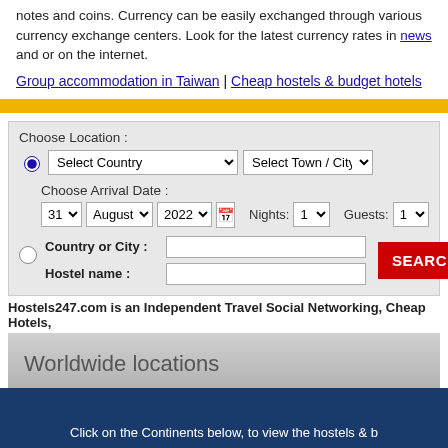notes and coins. Currency can be easily exchanged through various currency exchange centers. Look for the latest currency rates in news and or on the internet.
Group accommodation in Taiwan | Cheap hostels & budget hotels
[Figure (screenshot): Hotel/hostel search form with location selector, arrival date, nights, guests, country/city and hostel name fields, and a SEARCH NOW button]
Hostels247.com is an Independent Travel Social Networking, Cheap Hotels,
Worldwide locations
Click on the Continents below, to view the hostels & b